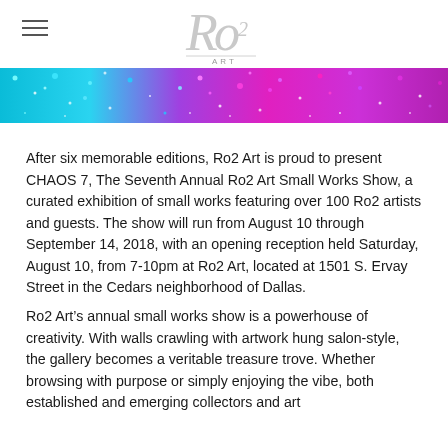Ro2 Art logo and navigation
[Figure (photo): Colorful glitter/bokeh banner image with blue, teal, purple, and magenta sparkles]
After six memorable editions, Ro2 Art is proud to present CHAOS 7, The Seventh Annual Ro2 Art Small Works Show, a curated exhibition of small works featuring over 100 Ro2 artists and guests. The show will run from August 10 through September 14, 2018, with an opening reception held Saturday, August 10, from 7-10pm at Ro2 Art, located at 1501 S. Ervay Street in the Cedars neighborhood of Dallas.
Ro2 Art’s annual small works show is a powerhouse of creativity. With walls crawling with artwork hung salon-style, the gallery becomes a veritable treasure trove. Whether browsing with purpose or simply enjoying the vibe, both established and emerging collectors and art